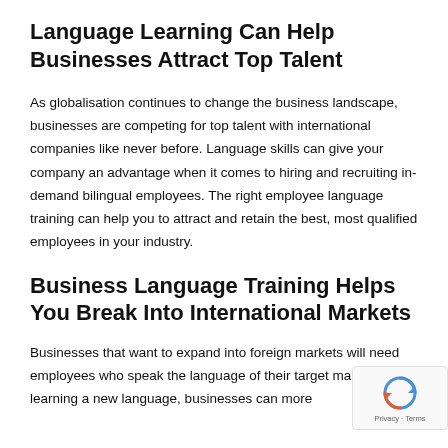Language Learning Can Help Businesses Attract Top Talent
As globalisation continues to change the business landscape, businesses are competing for top talent with international companies like never before. Language skills can give your company an advantage when it comes to hiring and recruiting in-demand bilingual employees. The right employee language training can help you to attract and retain the best, most qualified employees in your industry.
Business Language Training Helps You Break Into International Markets
Businesses that want to expand into foreign markets will need employees who speak the language of their target market. By learning a new language, businesses can more